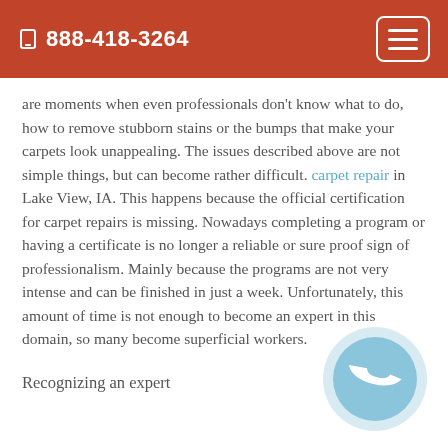888-418-3264
are moments when even professionals don't know what to do, how to remove stubborn stains or the bumps that make your carpets look unappealing. The issues described above are not simple things, but can become rather difficult. carpet repair in Lake View, IA. This happens because the official certification for carpet repairs is missing. Nowadays completing a program or having a certificate is no longer a reliable or sure proof sign of professionalism. Mainly because the programs are not very intense and can be finished in just a week. Unfortunately, this amount of time is not enough to become an expert in this domain, so many become superficial workers.
Recognizing an expert